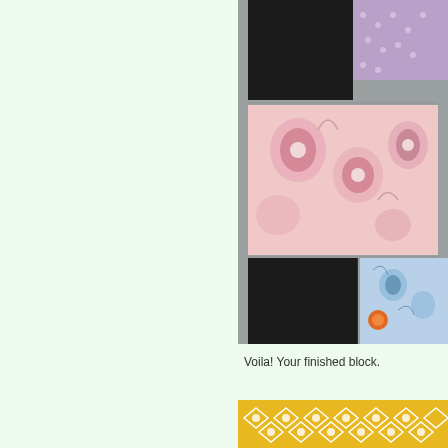[Figure (photo): Close-up photo of a quilting block assembly on a gray fabric background. Shows black fabric squares, pink floral fabric, purple dotted fabric, and blue floral fabric pieces arranged in a patchwork pattern.]
Voila!  Your finished block.
[Figure (photo): Partial photo showing yellow fabric with white geometric/floral diamond pattern, partially visible at the bottom of the page.]